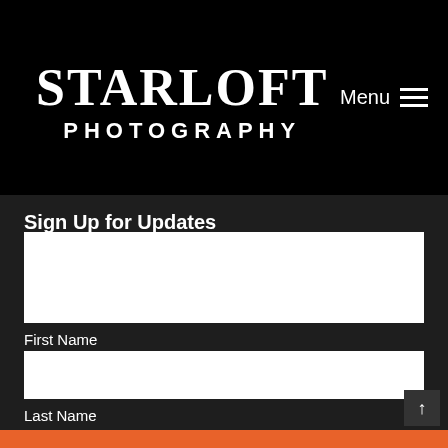STARLOFT PHOTOGRAPHY
Menu
Sign Up for Updates
Email Address
First Name
Last Name